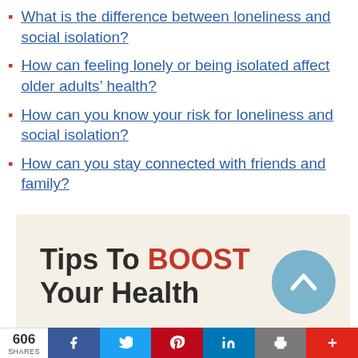What is the difference between loneliness and social isolation?
How can feeling lonely or being isolated affect older adults’ health?
How can you know your risk for loneliness and social isolation?
How can you stay connected with friends and family?
[Figure (infographic): Tips To BOOST Your Health infographic banner with scroll-to-top button, on a cream background]
606 SHARES
[Figure (infographic): Social share bar with Facebook, Twitter, Pinterest, LinkedIn, Print, and Plus buttons]